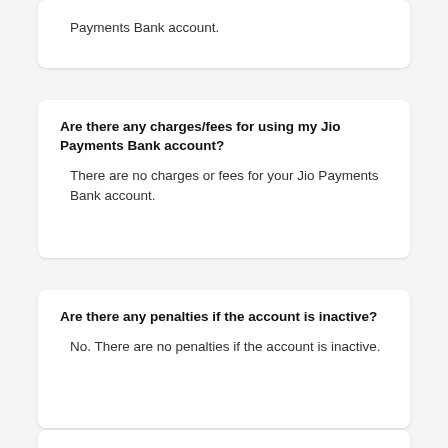Payments Bank account.
Are there any charges/fees for using my Jio Payments Bank account?
There are no charges or fees for your Jio Payments Bank account.
Are there any penalties if the account is inactive?
No. There are no penalties if the account is inactive.
What are the ID proofs required for opening a Jio Payments Bank account?